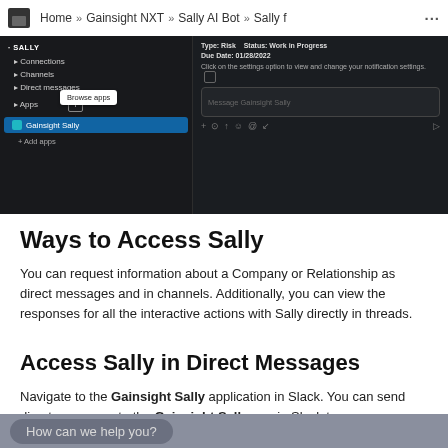Home » Gainsight NXT » Sally AI Bot » Sally f ...
[Figure (screenshot): Dark-themed Slack-like UI showing Sally sidebar with Connections, Channels, Direct messages, Apps (with Gainsight Sally active and Browse apps tooltip), and a main panel with task metadata, notification settings notice, and Message Gainsight Sally input area.]
Ways to Access Sally
You can request information about a Company or Relationship as direct messages and in channels. Additionally, you can view the responses for all the interactive actions with Sally directly in threads.
Access Sally in Direct Messages
Navigate to the Gainsight Sally application in Slack. You can send direct messages to the Gainsight Sally app in Slack to
How can we help you?